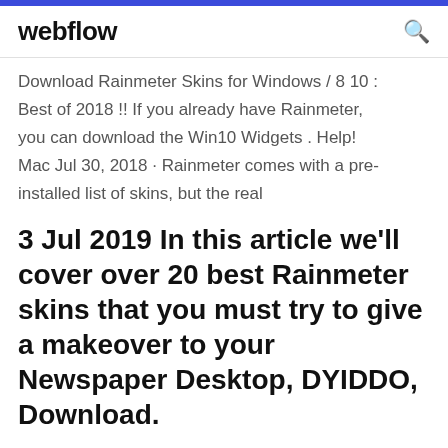webflow
Download Rainmeter Skins for Windows / 8 10 : Best of 2018 !! If you already have Rainmeter, you can download the Win10 Widgets . Help! Mac Jul 30, 2018 · Rainmeter comes with a pre-installed list of skins, but the real
3 Jul 2019 In this article we'll cover over 20 best Rainmeter skins that you must try to give a makeover to your Newspaper Desktop, DYIDDO, Download.
Check out this listing of some of the best Rainmeter skins, and make your shortcuts and Ru…